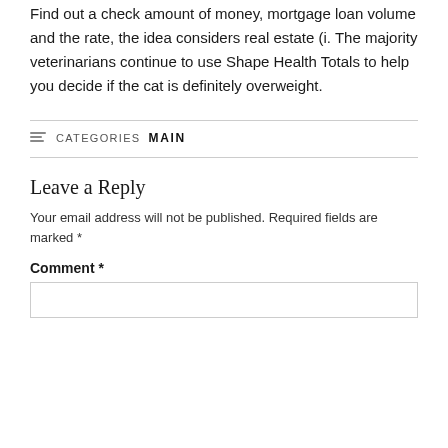Find out a check amount of money, mortgage loan volume and the rate, the idea considers real estate (i. The majority veterinarians continue to use Shape Health Totals to help you decide if the cat is definitely overweight.
CATEGORIES: MAIN
Leave a Reply
Your email address will not be published. Required fields are marked *
Comment *